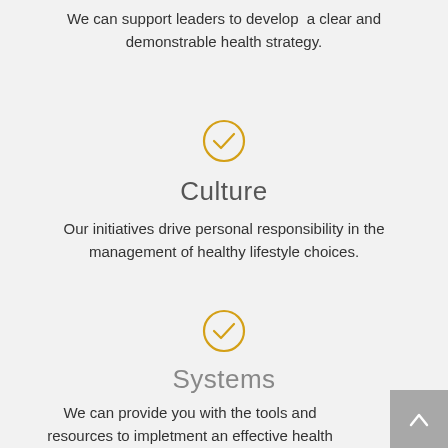We can support leaders to develop a clear and demonstrable health strategy.
[Figure (illustration): Orange circle with checkmark icon]
Culture
Our initiatives drive personal responsibility in the management of healthy lifestyle choices.
[Figure (illustration): Orange circle with checkmark icon]
Systems
We can provide you with the tools and resources to impletment an effective health initiatives.